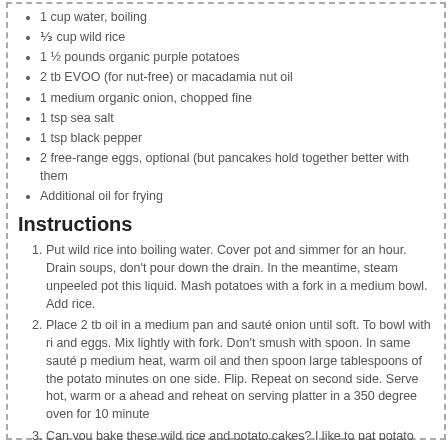1 cup water, boiling
⅓ cup wild rice
1 ½ pounds organic purple potatoes
2 tb EVOO (for nut-free) or macadamia nut oil
1 medium organic onion, chopped fine
1 tsp sea salt
1 tsp black pepper
2 free-range eggs, optional (but pancakes hold together better with them
Additional oil for frying
Instructions
Put wild rice into boiling water. Cover pot and simmer for an hour. Drain soups, don't pour down the drain. In the meantime, steam unpeeled pot this liquid. Mash potatoes with a fork in a medium bowl. Add rice.
Place 2 tb oil in a medium pan and sauté onion until soft. To bowl with ri and eggs. Mix lightly with fork. Don't smush with spoon. In same sauté p medium heat, warm oil and then spoon large tablespoons of the potato minutes on one side. Flip. Repeat on second side. Serve hot, warm or a ahead and reheat on serving platter in a 350 degree oven for 10 minute
Can you bake these wild rice and potato cakes? I like to pat potato mixt generously with oil, bake until lightly browned around the edges. Cut int
Notes
Serving for Chanukah? Bring on applesauce or sour cream.
Recipe by Go Dairy Free at https://www.godairyfree.org/recipes/breakfast/wild-rice-a-